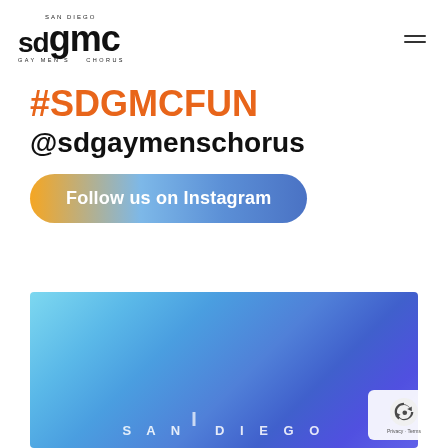[Figure (logo): San Diego Gay Men's Chorus (SDGMC) logo — 'sd' in bold followed by large 'gmc', with 'SAN DIEGO' above and 'GAY MEN'S CHORUS' below]
#SDGMCFUN
@sdgaymenschorus
Follow us on Instagram
[Figure (illustration): Partial Instagram post image showing a blue-to-purple gradient background with 'SAN DIEGO' text at the bottom in spaced capital letters]